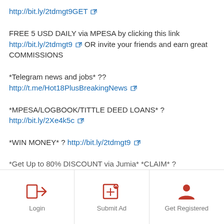http://bit.ly/2tdmgt9GET 🔗
FREE 5 USD DAILY via MPESA by clicking this link http://bit.ly/2tdmgt9 🔗 OR invite your friends and earn great COMMISSIONS
*Telegram news and jobs* ?? http://t.me/Hot18PlusBreakingNews 🔗
*MPESA/LOGBOOK/TITTLE DEED LOANS* ? http://bit.ly/2Xe4k5c 🔗
*WIN MONEY* ? http://bit.ly/2tdmgt9 🔗
*Get Up to 80% DISCOUNT via Jumia* *CLAIM* ?
Login | Submit Ad | Get Registered